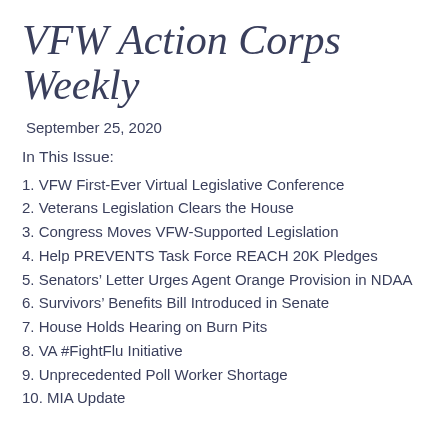VFW Action Corps Weekly
September 25, 2020
In This Issue:
1. VFW First-Ever Virtual Legislative Conference
2. Veterans Legislation Clears the House
3. Congress Moves VFW-Supported Legislation
4. Help PREVENTS Task Force REACH 20K Pledges
5. Senators’ Letter Urges Agent Orange Provision in NDAA
6. Survivors’ Benefits Bill Introduced in Senate
7. House Holds Hearing on Burn Pits
8. VA #FightFlu Initiative
9. Unprecedented Poll Worker Shortage
10. MIA Update